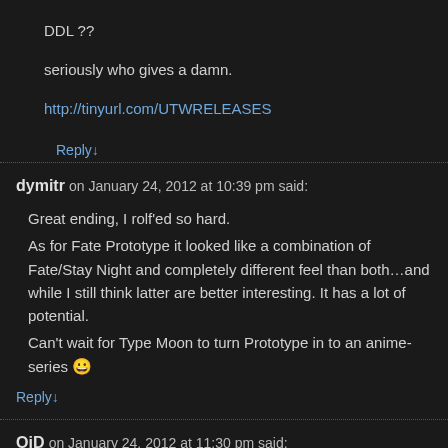DDL ??
seriously who gives a damn.
http://tinyurl.com/UTWRELEASES
Reply↓
dymitr on January 24, 2012 at 10:39 pm said:
Great ending, I rolf'ed so hard.
As for Fate Prototype it looked like a combination of Fate/Stay Night and completely different feel than both…and while I still think latter are better interesting. It has a lot of potential.
Can't wait for Type Moon to turn Prototype in to an anime-series 😀
Reply↓
OiD on January 24, 2012 at 11:30 pm said:
I really enjoyed this show, it's been a while since I laughed so much. Gre perfection!
Thanks UTW for such great subs and all your hard work.
Reply↓